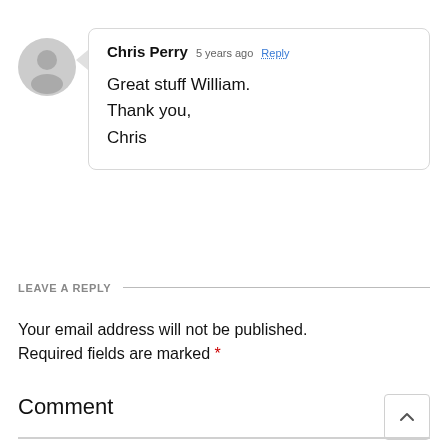Chris Perry  5 years ago  Reply

Great stuff William.
Thank you,
Chris
LEAVE A REPLY
Your email address will not be published. Required fields are marked *
Comment